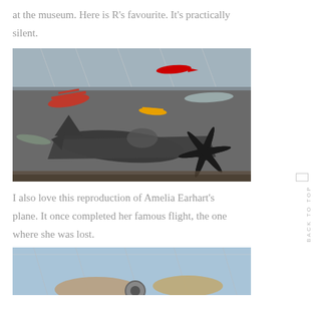at the museum. Here is R's favourite. It's practically silent.
[Figure (photo): Interior of an aviation museum showing various aircraft suspended from the ceiling, with a large gray propeller-driven aircraft in the foreground and colorful biplanes in the background.]
I also love this reproduction of Amelia Earhart's plane. It once completed her famous flight, the one where she was lost.
[Figure (photo): Partial view of an aircraft at a museum, cropped at bottom of page, showing the interior ceiling structure.]